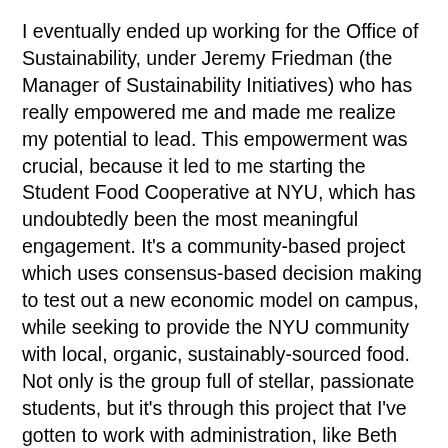I eventually ended up working for the Office of Sustainability, under Jeremy Friedman (the Manager of Sustainability Initiatives) who has really empowered me and made me realize my potential to lead. This empowerment was crucial, because it led to me starting the Student Food Cooperative at NYU, which has undoubtedly been the most meaningful engagement. It's a community-based project which uses consensus-based decision making to test out a new economic model on campus, while seeking to provide the NYU community with local, organic, sustainably-sourced food. Not only is the group full of stellar, passionate students, but it's through this project that I've gotten to work with administration, like Beth Morningstar, who has also helped to make me feel valued as a leader at NYU.
This entire experience has been much more enriching than I could have possibly imagined. But I had to be proactive to get it, and I was very fortunate to get connected to the right people at the right time.
What roadblocks have you experienced while encouraging NYU students to lead a more sustainable lifestyle?